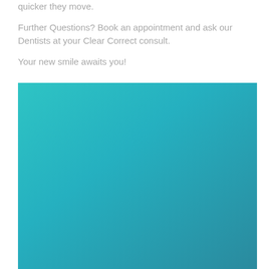quicker they move.
Further Questions? Book an appointment and ask our Dentists at your Clear Correct consult.
Your new smile awaits you!
[Figure (illustration): A large rectangular image with a teal-to-blue-grey gradient, transitioning from bright cyan-teal at the top-left to a darker slate-teal at the bottom-right.]